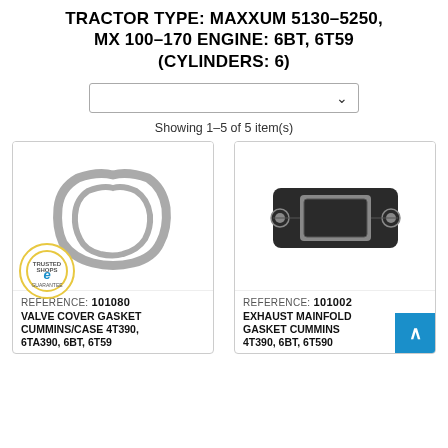TRACTOR TYPE: MAXXUM 5130-5250, MX 100-170 ENGINE: 6BT, 6T59 (CYLINDERS: 6)
Showing 1-5 of 5 item(s)
[Figure (photo): Silver/grey valve cover gasket with rounded rectangular shape for Cummins/Case 4T390, 6TA390, 6BT, 6T59]
REFERENCE: 101080
VALVE COVER GASKET CUMMINS/CASE 4T390, 6TA390, 6BT, 6T59
[Figure (photo): Dark grey/black exhaust manifold gasket with rectangular center opening and two bolt holes on ends for Cummins 4T390, 6BT, 6T590]
REFERENCE: 101002
EXHAUST MAINFOLD GASKET CUMMINS 4T390, 6BT, 6T590